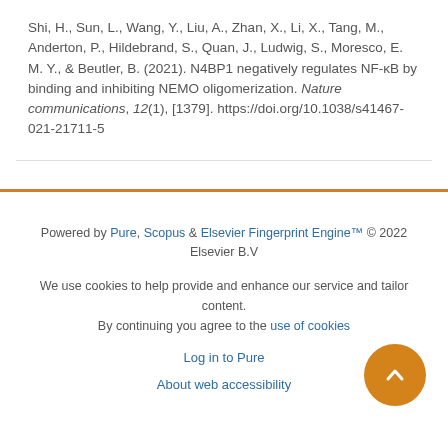Shi, H., Sun, L., Wang, Y., Liu, A., Zhan, X., Li, X., Tang, M., Anderton, P., Hildebrand, S., Quan, J., Ludwig, S., Moresco, E. M. Y., & Beutler, B. (2021). N4BP1 negatively regulates NF-κB by binding and inhibiting NEMO oligomerization. Nature communications, 12(1), [1379]. https://doi.org/10.1038/s41467-021-21711-5
Powered by Pure, Scopus & Elsevier Fingerprint Engine™ © 2022 Elsevier B.V

We use cookies to help provide and enhance our service and tailor content. By continuing you agree to the use of cookies

Log in to Pure

About web accessibility